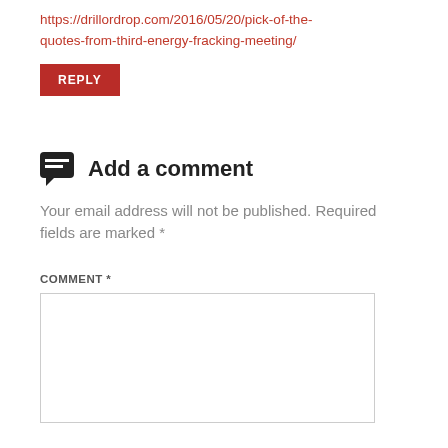https://drillordrop.com/2016/05/20/pick-of-the-quotes-from-third-energy-fracking-meeting/
REPLY
Add a comment
Your email address will not be published. Required fields are marked *
COMMENT *